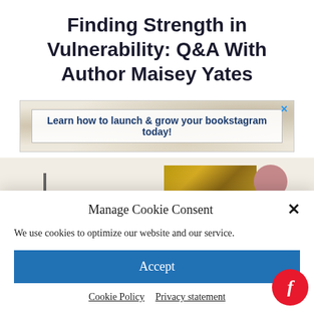Finding Strength in Vulnerability: Q&A With Author Maisey Yates
[Figure (screenshot): Advertisement banner with marble/book background texture showing text 'Learn how to launch & grow your bookstagram today!' with a blue X close button in the top right corner]
[Figure (screenshot): Partial page content preview showing a vertical black bar, a portion of a book cover with gold/brown tones, and a pink circle element]
Manage Cookie Consent
We use cookies to optimize our website and our service.
Accept
Cookie Policy   Privacy statement